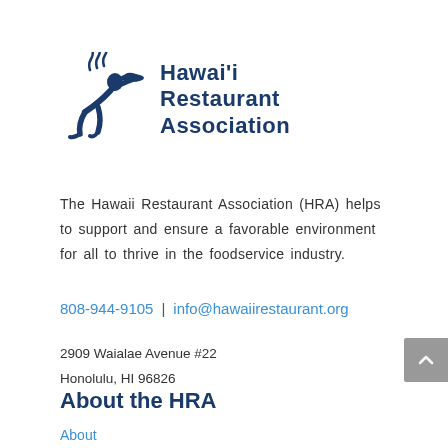[Figure (logo): Hawaii Restaurant Association logo with a running figure chef/waiter holding a tray with steam, alongside bold navy text reading Hawai'i Restaurant Association]
The Hawaii Restaurant Association (HRA) helps to support and ensure a favorable environment for all to thrive in the foodservice industry.
808-944-9105  |  info@hawaiirestaurant.org
2909 Waialae Avenue #22
Honolulu, HI 96826
About the HRA
About